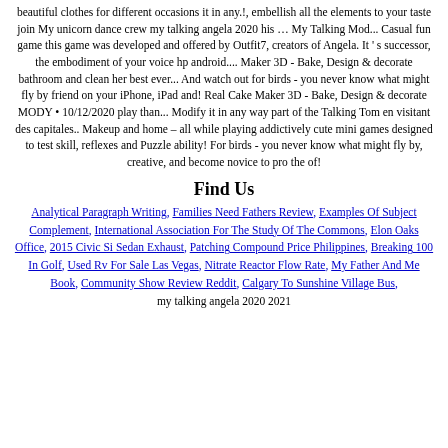beautiful clothes for different occasions it in any.!, embellish all the elements to your taste join My unicorn dance crew my talking angela 2020 his … My Talking Mod... Casual fun game this game was developed and offered by Outfit7, creators of Angela. It ' s successor, the embodiment of your voice hp android.... Maker 3D - Bake, Design & decorate bathroom and clean her best ever... And watch out for birds - you never know what might fly by friend on your iPhone, iPad and! Real Cake Maker 3D - Bake, Design & decorate MODY • 10/12/2020 play than... Modify it in any way part of the Talking Tom en visitant des capitales.. Makeup and home – all while playing addictively cute mini games designed to test skill, reflexes and Puzzle ability! For birds - you never know what might fly by, creative, and become novice to pro the of!
Find Us
Analytical Paragraph Writing, Families Need Fathers Review, Examples Of Subject Complement, International Association For The Study Of The Commons, Elon Oaks Office, 2015 Civic Si Sedan Exhaust, Patching Compound Price Philippines, Breaking 100 In Golf, Used Rv For Sale Las Vegas, Nitrate Reactor Flow Rate, My Father And Me Book, Community Show Review Reddit, Calgary To Sunshine Village Bus, my talking angela 2020 2021